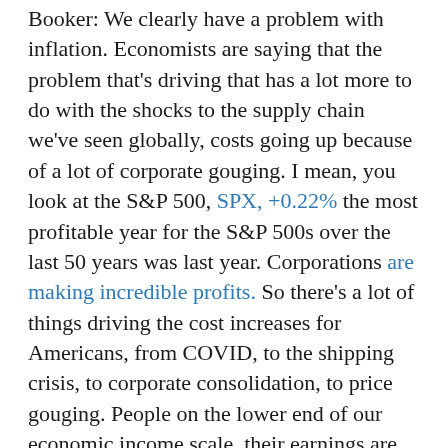Booker: We clearly have a problem with inflation. Economists are saying that the problem that's driving that has a lot more to do with the shocks to the supply chain we've seen globally, costs going up because of a lot of corporate gouging. I mean, you look at the S&P 500, SPX, +0.22% the most profitable year for the S&P 500s over the last 50 years was last year. Corporations are making incredible profits. So there's a lot of things driving the cost increases for Americans, from COVID, to the shipping crisis, to corporate consolidation, to price gouging. People on the lower end of our economic income scale, their earnings are not driving inflation.
Clearly, there's a lot of money out there, but it's chasing too few goods because of the challenges we're having in supply chains and more. And so I'm not worried about this. In fact, the entirety of Build Back Better — people were concerned about it, but you had top economists, I